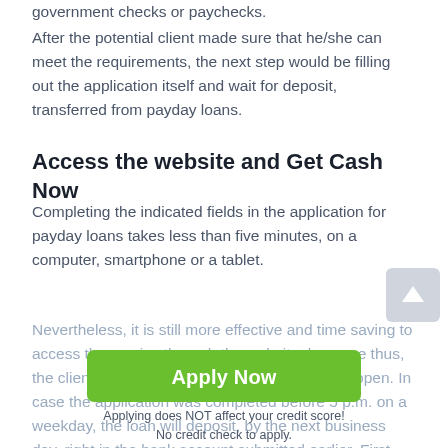government checks or paychecks.
After the potential client made sure that he/she can meet the requirements, the next step would be filling out the application itself and wait for deposit, transferred from payday loans.
Access the website and Get Cash Now
Completing the indicated fields in the application for payday loans takes less than five minutes, on a computer, smartphone or a tablet.
Nevertheless, it is still more effective and time saving to access the service through the website, because thus, the client will not have to wait for a business to open. In case the application was completed before 5 p.m. on a weekday, the loan will deposit, by the next business day, right in the bank account submitted earlier. First-time borrowers can have up to 500 dolla loans.
[Figure (other): Green Apply Now button overlay with text 'Apply Now' and below it: 'Applying does NOT affect your credit score! No credit check to apply.']